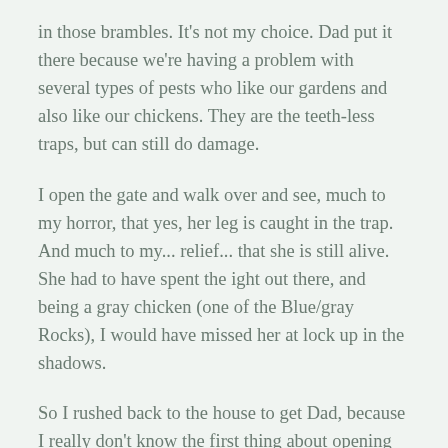in those brambles. It's not my choice. Dad put it there because we're having a problem with several types of pests who like our gardens and also like our chickens. They are the teeth-less traps, but can still do damage.
I open the gate and walk over and see, much to my horror, that yes, her leg is caught in the trap. And much to my... relief... that she is still alive. She had to have spent the ight out there, and being a gray chicken (one of the Blue/gray Rocks), I would have missed her at lock up in the shadows.
So I rushed back to the house to get Dad, because I really don't know the first thing about opening those traps, and also woke up my